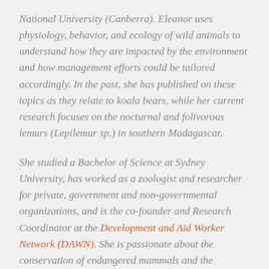National University (Canberra). Eleanor uses physiology, behavior, and ecology of wild animals to understand how they are impacted by the environment and how management efforts could be tailored accordingly. In the past, she has published on these topics as they relate to koala bears, while her current research focuses on the nocturnal and folivorous lemurs (Lepilemur sp.) in southern Madagascar.
She studied a Bachelor of Science at Sydney University, has worked as a zoologist and researcher for private, government and non-governmental organizations, and is the co-founder and Research Coordinator at the Development and Aid Worker Network (DAWN). She is passionate about the conservation of endangered mammals and the